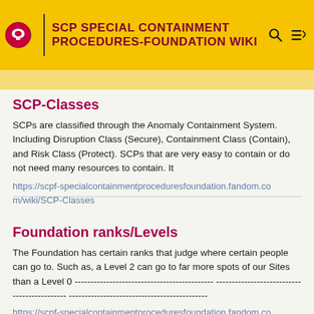SCP SPECIAL CONTAINMENT PROCEDURES-FOUNDATION WIKI
SCP-Classes
SCPs are classified through the Anomaly Containment System. Including Disruption Class (Secure), Containment Class (Contain), and Risk Class (Protect). SCPs that are very easy to contain or do not need many resources to contain. It
https://scpf-specialcontainmentproceduresfoundation.fandom.com/wiki/SCP-Classes
Foundation ranks/Levels
The Foundation has certain ranks that judge where certain people can go to. Such as, a Level 2 can go to far more spots of our Sites than a Level 0 ----------------------------------------------- ----------------------------------------------- -----------------------------------------------
https://scpf-specialcontainmentproceduresfoundation.fandom.com/wiki/Foundation_ranks/Level